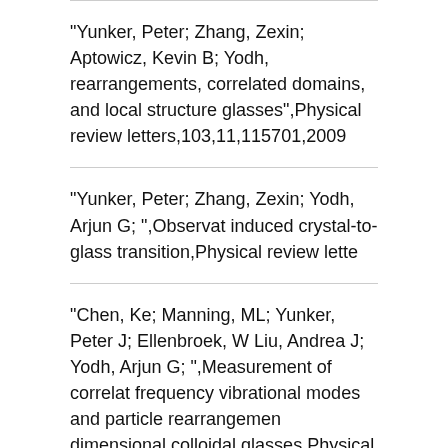"Yunker, Peter; Zhang, Zexin; Aptowicz, Kevin B; Yodh, rearrangements, correlated domains, and local structure glasses",Physical review letters,103,11,115701,2009
"Yunker, Peter; Zhang, Zexin; Yodh, Arjun G; ",Observat induced crystal-to-glass transition,Physical review lette
"Chen, Ke; Manning, ML; Yunker, Peter J; Ellenbroek, W Liu, Andrea J; Yodh, Arjun G; ",Measurement of correlat frequency vibrational modes and particle rearrangemen dimensional colloidal glasses,Physical Review Letters,1
"Still, Tim; Yunker, Peter J; Yodh, Arjun G; ",Surfactant-i